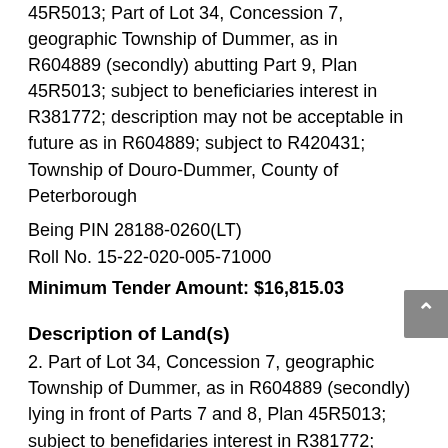45R5013; Part of Lot 34, Concession 7, geographic Township of Dummer, as in R604889 (secondly) abutting Part 9, Plan 45R5013; subject to beneficiaries interest in R381772; description may not be acceptable in future as in R604889; subject to R420431; Township of Douro-Dummer, County of Peterborough
Being PIN 28188-0260(LT)
Roll No. 15-22-020-005-71000
Minimum Tender Amount: $16,815.03
Description of Land(s)
2. Part of Lot 34, Concession 7, geographic Township of Dummer, as in R604889 (secondly) lying in front of Parts 7 and 8, Plan 45R5013; subject to benefidaries interest in R381772; description may not be acceptable in future as in R604889; Township of Douro-Dummer, County of Peterborough
Being PIN 28188-0262(LT)